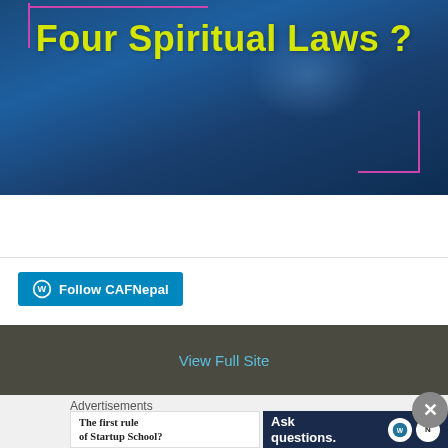[Figure (illustration): Blue gradient background image with yellow bold text 'Four Spiritual Laws ?' and decorative pink corner lines]
[Figure (other): Follow CAFNepal button with WordPress logo icon on teal/blue background]
View Full Site
Advertisements
[Figure (other): Advertisement box white: 'The first rule of Startup School?']
[Figure (other): Advertisement box dark: 'Ask questions.' with WordPress and News logo circles]